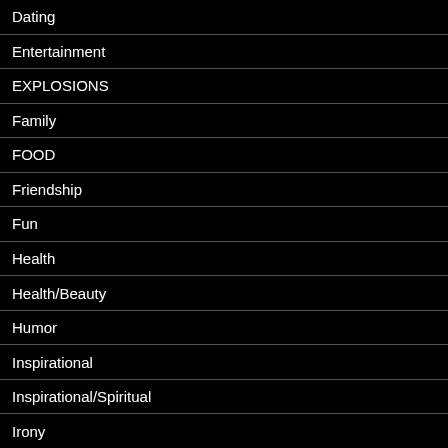Dating
Entertainment
EXPLOSIONS
Family
FOOD
Friendship
Fun
Health
Health/Beauty
Humor
Inspirational
Inspirational/Spiritual
Irony